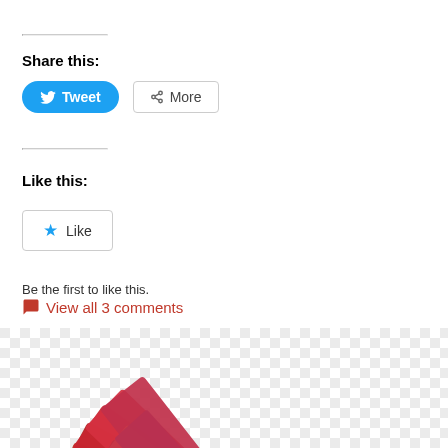Share this:
[Figure (screenshot): Tweet button (blue rounded) and More button (grey outline) for sharing content on social media]
Like this:
[Figure (screenshot): WordPress Like button with blue star icon]
Be the first to like this.
View all 3 comments
[Figure (photo): Fan of colorful US dollar bills arranged in a semicircle, with green, yellow, orange, and red gradient coloring, on a checkered transparent background]